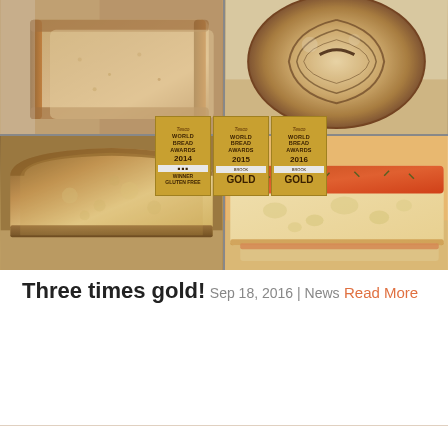[Figure (photo): Collage of four bread photos: top-left shows sliced sandwich loaf, top-right shows a round sourdough loaf with spiral scoring, bottom-left shows a large sliced gluten-free loaf, bottom-right shows focaccia with tomato sauce. Three World Bread Awards badges overlaid in the center showing 2014 Winner Gluten Free, 2015 Gold, 2016 Gold.]
Three times gold!
Sep 18, 2016 | News
Read More